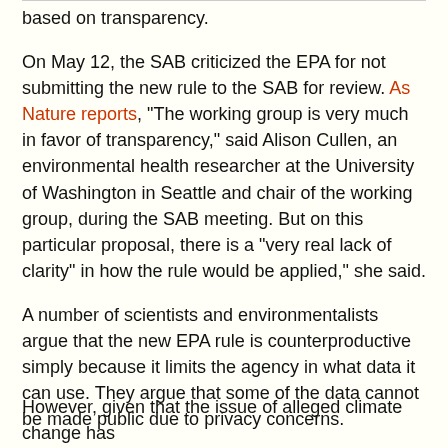based on transparency.
On May 12, the SAB criticized the EPA for not submitting the new rule to the SAB for review. As Nature reports, “The working group is very much in favor of transparency,” said Alison Cullen, an environmental health researcher at the University of Washington in Seattle and chair of the working group, during the SAB meeting. But on this particular proposal, there is a “very real lack of clarity” in how the rule would be applied,” she said.
A number of scientists and environmentalists argue that the new EPA rule is counterproductive simply because it limits the agency in what data it can use. They argue that some of the data cannot be made public due to privacy concerns.
Both sides clearly have a point. If the EPA has non-public information pointing toward a certain chemical being toxic, for instance, the EPA should be able to formulate a policy based on the real scientific evidence.
However, given that the issue of alleged climate change has